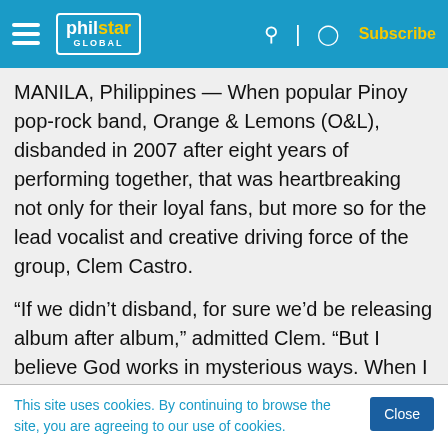philstar GLOBAL — Subscribe
MANILA, Philippines — When popular Pinoy pop-rock band, Orange & Lemons (O&L), disbanded in 2007 after eight years of performing together, that was heartbreaking not only for their loyal fans, but more so for the lead vocalist and creative driving force of the group, Clem Castro.
“If we didn’t disband, for sure we’d be releasing album after album,” admitted Clem. “But I believe God works in mysterious ways. When I turned 40, I began to reflect and look back. I wanted to preserve t
This site uses cookies. By continuing to browse the site, you are agreeing to our use of cookies.